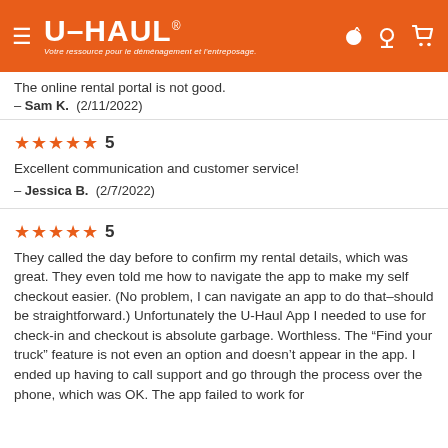[Figure (logo): U-Haul orange header with hamburger menu, U-HAUL logo with tagline 'Votre ressource pour le déménagement et l'entreposage.', and location/cart icons]
The online rental portal is not good.
— Sam K.  (2/11/2022)
★★★★★ 5
Excellent communication and customer service!
— Jessica B.  (2/7/2022)
★★★★★ 5
They called the day before to confirm my rental details, which was great. They even told me how to navigate the app to make my self checkout easier. (No problem, I can navigate an app to do that–should be straightforward.) Unfortunately the U-Haul App I needed to use for check-in and checkout is absolute garbage. Worthless. The "Find your truck" feature is not even an option and doesn't appear in the app. I ended up having to call support and go through the process over the phone, which was OK. The app failed to work for